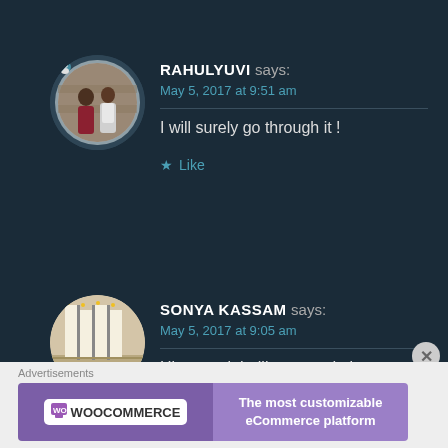[Figure (photo): Avatar photo of RAHULYUVI - a couple standing outdoors against a brick wall]
RAHULYUVI says:
May 5, 2017 at 9:51 am
I will surely go through it !
Like
[Figure (photo): Avatar photo of SONYA KASSAM - interior of a building with tall arched windows]
SONYA KASSAM says:
May 5, 2017 at 9:05 am
Hi, you might like to read about my
Advertisements
[Figure (logo): WooCommerce advertisement banner: WooCommerce logo on purple background with text 'The most customizable eCommerce platform']